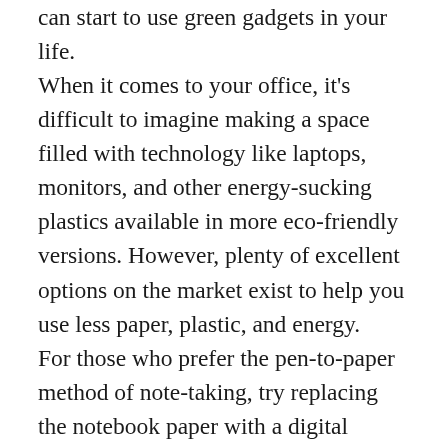can start to use green gadgets in your life. When it comes to your office, it's difficult to imagine making a space filled with technology like laptops, monitors, and other energy-sucking plastics available in more eco-friendly versions. However, plenty of excellent options on the market exist to help you use less paper, plastic, and energy. For those who prefer the pen-to-paper method of note-taking, try replacing the notebook paper with a digital notebook. Digital notebooks are an excellent way to get the best of both worlds because you get to write on paper without being wasteful. Once you write in the digital notebook, you can download the pages to a computer and clear the notebook. This allows you to use the same pages over and over again.